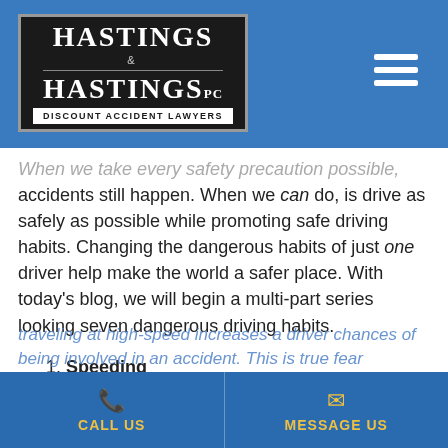Hastings & Hastings PC — Discount Accident Lawyers
When we take every safety precaution possible, accidents still happen. When we can do, is drive as safely as possible while promoting safe driving habits. Changing the dangerous habits of just one driver help make the world a safer place. With today's blog, we will begin a multi-part series looking seven dangerous driving habits.
1. Speeding
Speeding is the second leading cause of fatal traffic accidents. There is a direct relationship between the high vehicle speed and crash severity. What is more, traveling at high-speed increases a driver chances of being involved in an accident. This is true fear
CALL US | MESSAGE US